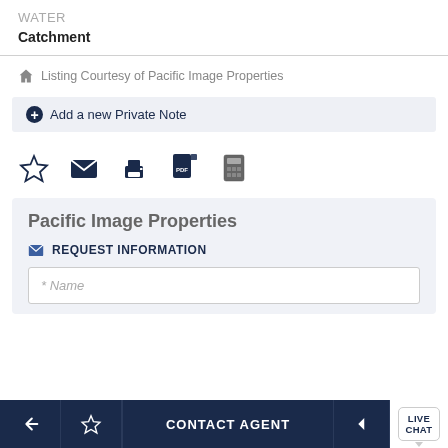WATER
Catchment
Listing Courtesy of Pacific Image Properties
+ Add a new Private Note
[Figure (screenshot): Row of action icons: star/favorite, email, print, PDF, calculator]
Pacific Image Properties
REQUEST INFORMATION
* Name
Back | Favorite | CONTACT AGENT | Arrow | LIVE CHAT